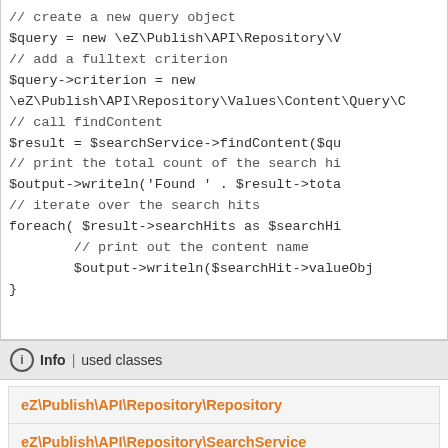// create a new query object
$query = new \eZ\Publish\API\Repository\V
// add a fulltext criterion
$query->criterion = new
\eZ\Publish\API\Repository\Values\Content\Query\C
// call findContent
$result = $searchService->findContent($qu
// print the total count of the search hi
$output->writeln('Found ' . $result->tota
// iterate over the search hits
foreach( $result->searchHits as $searchHi
    // print out the content name
    $output->writeln($searchHit->valueObj
}
Info | used classes
eZ\Publish\API\Repository\Repository
eZ\Publish\API\Repository\SearchService
eZ\Publish\API\Repository\Values\Content\Query
eZ\Publish\API\Repository\Values\Content\Query\Criterion